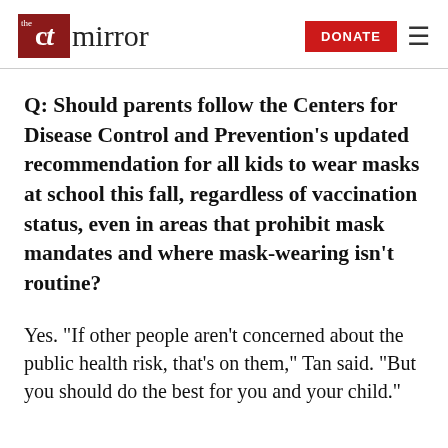the ct mirror — DONATE
Q: Should parents follow the Centers for Disease Control and Prevention’s updated recommendation for all kids to wear masks at school this fall, regardless of vaccination status, even in areas that prohibit mask mandates and where mask-wearing isn’t routine?
Yes. “If other people aren’t concerned about the public health risk, that’s on them,” Tan said. “But you should do the best for you and your child.”